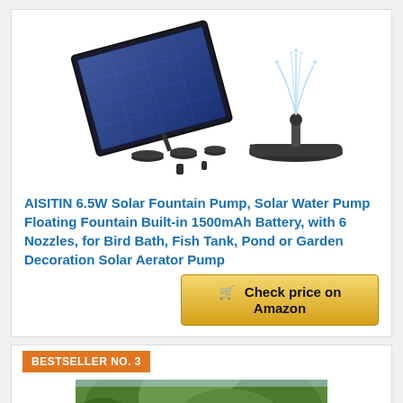[Figure (photo): AISITIN 6.5W Solar Fountain Pump product photo showing a solar panel, floating pump base, water spray, and accessories/nozzles on a white background]
AISITIN 6.5W Solar Fountain Pump, Solar Water Pump Floating Fountain Built-in 1500mAh Battery, with 6 Nozzles, for Bird Bath, Fish Tank, Pond or Garden Decoration Solar Aerator Pump
Check price on Amazon
BESTSELLER NO. 3
[Figure (photo): Partial photo of a garden or outdoor scene showing greenery/trees, bottom portion of next product listing]